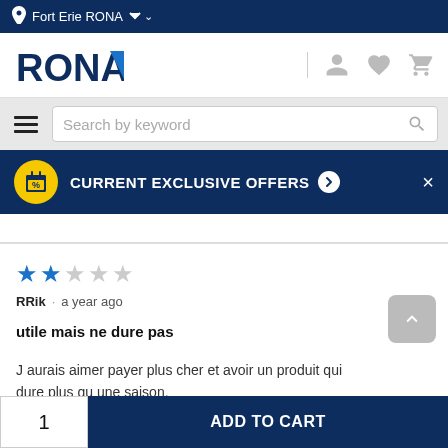Fort Erie RONA
[Figure (logo): RONA logo with user, heart, and cart icons]
Search by keyword
CURRENT EXCLUSIVE OFFERS
[Figure (screenshot): 2-star rating (out of 5 stars)]
RRik · a year ago
utile mais ne dure pas
J aurais aimer payer plus cher et avoir un produit qui dure plus qu une saison.
Translate with Google
1  ADD TO CART